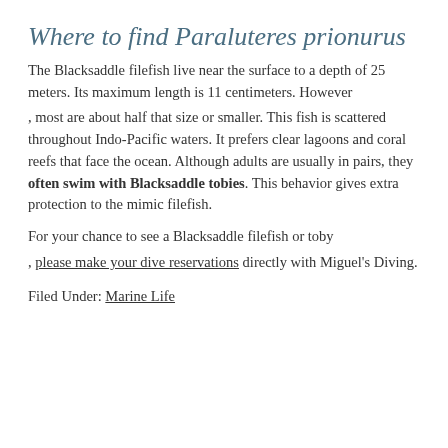Where to find Paraluteres prionurus
The Blacksaddle filefish live near the surface to a depth of 25 meters. Its maximum length is 11 centimeters. However
, most are about half that size or smaller. This fish is scattered throughout Indo-Pacific waters. It prefers clear lagoons and coral reefs that face the ocean. Although adults are usually in pairs, they often swim with Blacksaddle tobies. This behavior gives extra protection to the mimic filefish.
For your chance to see a Blacksaddle filefish or toby
, please make your dive reservations directly with Miguel's Diving.
Filed Under: Marine Life